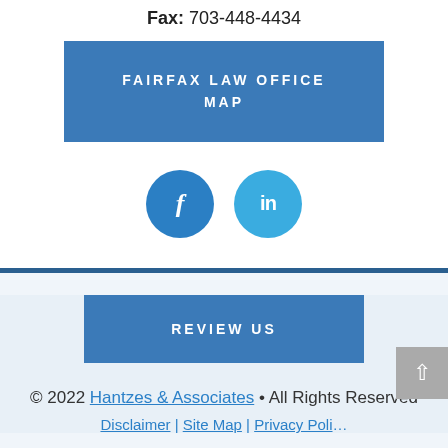Fax: 703-448-4434
FAIRFAX LAW OFFICE MAP
[Figure (other): Social media icons: Facebook (f) and LinkedIn (in) as blue circles]
REVIEW US
© 2022 Hantzes & Associates • All Rights Reserved
Disclaimer | Site Map | Privacy Policy